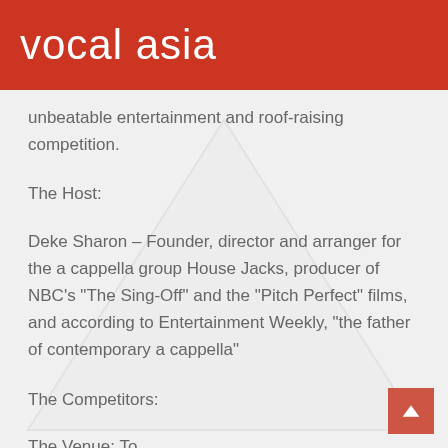vocal asia
unbeatable entertainment and roof-raising competition.
The Host:
Deke Sharon – Founder, director and arranger for the a cappella group House Jacks, producer of NBC's "The Sing-Off" and the "Pitch Perfect" films, and according to Entertainment Weekly, "the father of contemporary a cappella"
The Competitors:
The Venue: Tokyo...